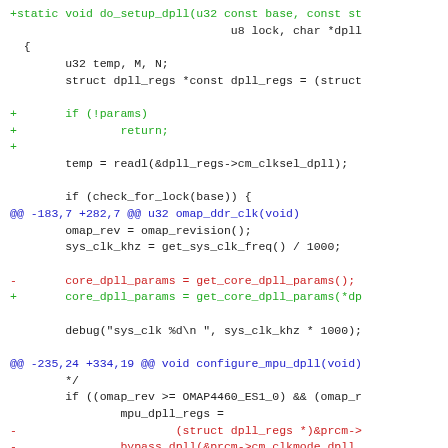[Figure (other): Source code diff showing C code for DPLL setup functions. Green lines are additions (+), red lines are deletions (-), blue lines are diff hunk headers (@@). Code includes do_setup_dpll, omap_ddr_clk, and configure_mpu_dpll functions.]